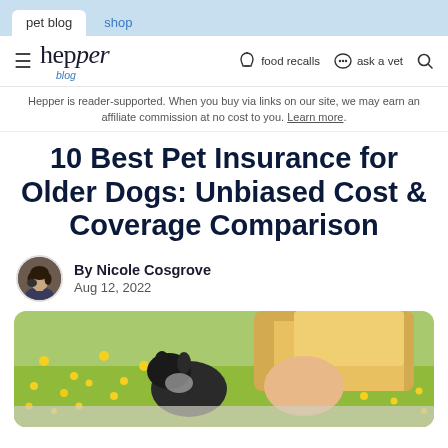pet blog | shop
hepper blog | food recalls | ask a vet
Hepper is reader-supported. When you buy via links on our site, we may earn an affiliate commission at no cost to you. Learn more.
10 Best Pet Insurance for Older Dogs: Unbiased Cost & Coverage Comparison
By Nicole Cosgrove
Aug 12, 2022
[Figure (photo): A blonde woman kissing a black and white dog in a field of yellow dandelion flowers]